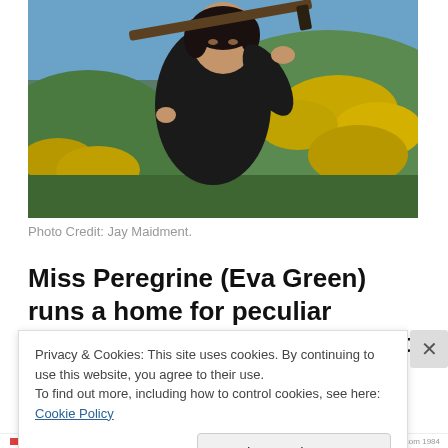[Figure (photo): A woman (Miss Peregrine / Eva Green) in a black jacket holding what appears to be a crossbow or similar object over her shoulder, standing outdoors with yellow flowering gorse bushes and green hills in the background, blue sky visible at top.]
Photo Credit: Jay Maidment.
Miss Peregrine (Eva Green) runs a home for peculiar children on a Welsh island, but this story is really about
Privacy & Cookies: This site uses cookies. By continuing to use this website, you agree to their use.
To find out more, including how to control cookies, see here: Cookie Policy
Close and accept